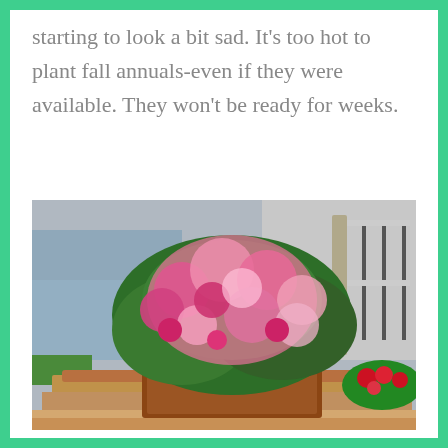starting to look a bit sad. It's too hot to plant fall annuals-even if they were available. They won't be ready for weeks.
[Figure (photo): A large planter/container overflowing with abundant pink and magenta flowers (likely mandevilla or petunias) with dark green foliage, situated on a tiled ledge near water and a building with railings. Additional red flowers visible in the lower right background.]